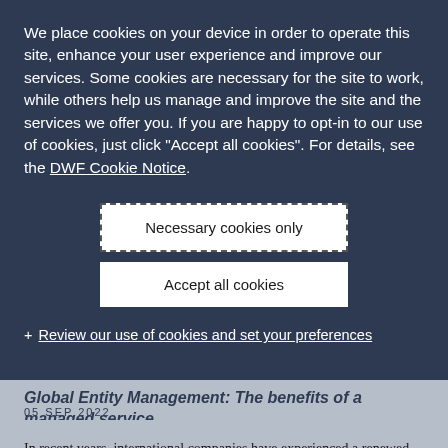We place cookies on your device in order to operate this site, enhance your user experience and improve our services. Some cookies are necessary for the site to work, while others help us manage and improve the site and the services we offer you. If you are happy to opt-in to our use of cookies, just click "Accept all cookies". For details, see the DWF Cookie Notice.
Necessary cookies only
Accept all cookies
+ Review our use of cookies and set your preferences
Global Entity Management: The benefits of a managed service
05 SEP 2022
In recent years, international companies have experienced a renewed focus on compliance. The ever-increasing